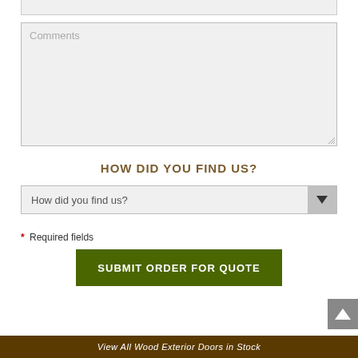[Figure (screenshot): Partial input field at the top of the page, truncated]
Comments
HOW DID YOU FIND US?
How did you find us?
* Required fields
SUBMIT ORDER FOR QUOTE
View All Wood Exterior Doors in Stock